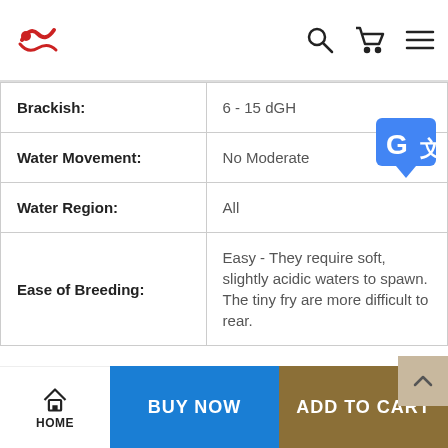Navigation bar with logo, search, cart, and menu icons
| Property | Value |
| --- | --- |
| Brackish: | 6 - 15 dGH |
| Water Movement: | No Moderate |
| Water Region: | All |
| Ease of Breeding: | Easy - They require soft, slightly acidic waters to spawn. The tiny fry are more difficult to rear. |
HOME | BUY NOW | ADD TO CART